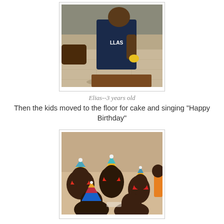[Figure (photo): A child (Elias, 3 years old) wearing a dark blue Dallas jersey, shown from mid-torso up, holding something yellow, standing in what appears to be an indoor room with a tiled floor. Another person's arm is visible on the left.]
Elias--3 years old
Then the kids moved to the floor for cake and singing "Happy Birthday"
[Figure (photo): Several young African children sitting on the floor wearing colorful birthday party hats (cone-shaped with multicolored designs). They appear to be at a birthday party celebration.]